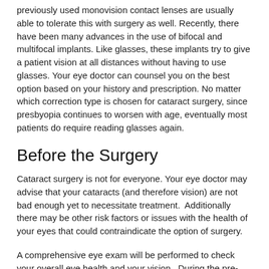previously used monovision contact lenses are usually able to tolerate this with surgery as well. Recently, there have been many advances in the use of bifocal and multifocal implants. Like glasses, these implants try to give a patient vision at all distances without having to use glasses. Your eye doctor can counsel you on the best option based on your history and prescription. No matter which correction type is chosen for cataract surgery, since presbyopia continues to worsen with age, eventually most patients do require reading glasses again.
Before the Surgery
Cataract surgery is not for everyone. Your eye doctor may advise that your cataracts (and therefore vision) are not bad enough yet to necessitate treatment.  Additionally there may be other risk factors or issues with the health of your eyes that could contraindicate the option of surgery.
A comprehensive eye exam will be performed to check your overall eye health and your vision.  During the pre-surgery exam, measurements will be taken of your cornea and your eye as well, to help fit the right intraocular lens for your eye